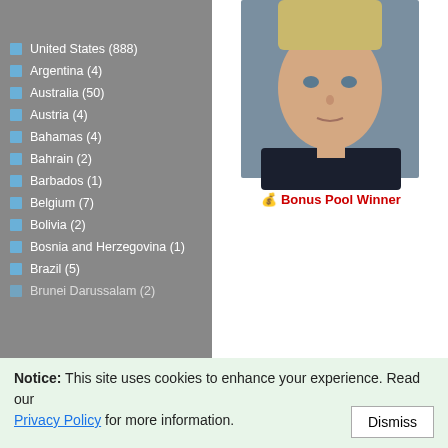Sort People by Country
United States (888)
Argentina (4)
Australia (50)
Austria (4)
Bahamas (4)
Bahrain (2)
Barbados (1)
Belgium (7)
Bolivia (2)
Bosnia and Herzegovina (1)
Brazil (5)
Brunei Darussalam (2)
[Figure (photo): Portrait photo of a woman with short blonde hair, selfie style, dark top]
💰 Bonus Pool Winner
[Figure (photo): Black and white portrait of a man wearing glasses, looking to the side]
Notice: This site uses cookies to enhance your experience. Read our Privacy Policy for more information.
Dismiss